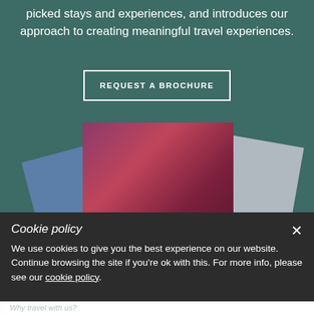picked stays and experiences, and introduces our approach to creating meaningful travel experiences.
REQUEST A BROCHURE
[Figure (photo): Stack of travel brochures fanned out: a blue brochure on the left, a dark red/wine colored brochure in the center with text 'The world your way' in italic serif font, another dark red brochure partially visible, and a light gray/beige brochure on the right. Brochures are arranged on a teal background.]
Cookie policy
We use cookies to give you the best experience on our website. Continue browsing the site if you're ok with this. For more info, please see our cookie policy.